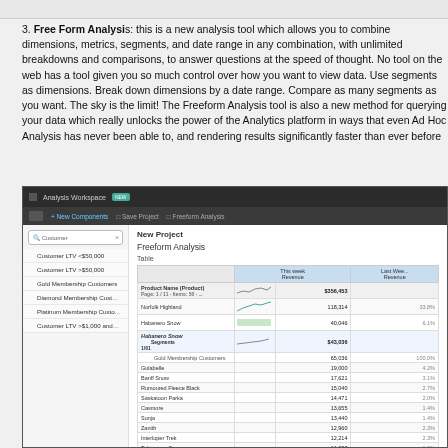3. Free Form Analysis: this is a new analysis tool which allows you to combine dimensions, metrics, segments, and date range in any combination, with unlimited breakdowns and comparisons, to answer questions at the speed of thought. No tool on the web has a tool given you so much control over how you want to view data. Use segments as dimensions. Break down dimensions by a date range. Compare as many segments as you want. The sky is the limit! The Freeform Analysis tool is also a new method for querying your data which really unlocks the power of the Analytics platform in ways that even Ad Hoc Analysis has never been able to, and rendering results significantly faster than ever before
[Figure (screenshot): Screenshot of Analysis Workspace showing Freeform Analysis tool with a table of product data including Norfolk Highland, Habanero Snow, and other products with Revenue columns and sparklines. Segments panel shows Gold Membership Customers selected.]